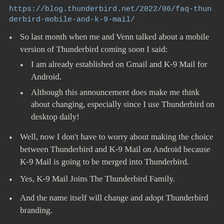https://blog.thunderbird.net/2022/06/faq-thunderbird-mobile-and-k-9-mail/
So last month when me and Venn talked about a mobile version of Thunderbird coming soon I said:
I am already established on Gmail and K-9 Mail for Android.
Although this announcement does make me think about changing, especially since I use Thunderbird on desktop daily!
Well, now I don't have to worry about making the choice between Thunderbird and K-9 Mail on Android because K-9 Mail is going to be merged into Thunderbird.
Yes, K-9 Mail Joins The Thunderbird Family.
And the name itself will change and adopt Thunderbird branding.